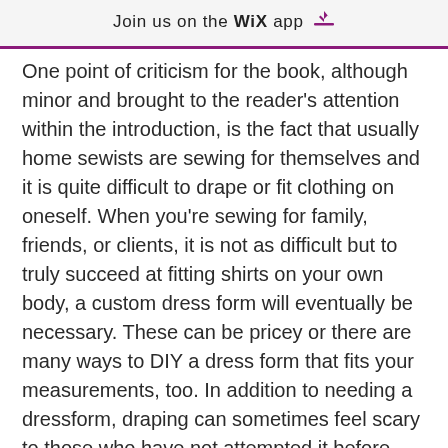Join us on the WiX app
One point of criticism for the book, although minor and brought to the reader's attention within the introduction, is the fact that usually home sewists are sewing for themselves and it is quite difficult to drape or fit clothing on oneself. When you're sewing for family, friends, or clients, it is not as difficult but to truly succeed at fitting shirts on your own body, a custom dress form will eventually be necessary. These can be pricey or there are many ways to DIY a dress form that fits your measurements, too. In addition to needing a dressform, draping can sometimes feel scary to those who have not attempted it before. And if